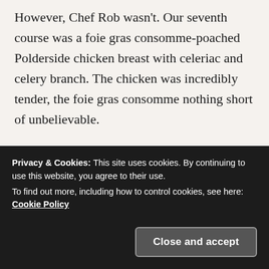However, Chef Rob wasn't. Our seventh course was a foie gras consomme-poached Polderside chicken breast with celeriac and celery branch. The chicken was incredibly tender, the foie gras consomme nothing short of unbelievable.
After alerting the kitchen staff to the fact that we were about to tap out, we were served our final savory course: a stuffed lamb neck with cucumber and yoghurt for me and beef cap served with corned tongue and brussel s... d... t... s...
claimed she couldn't eat another bite before the dish
[Figure (screenshot): Cookie consent banner overlay with dark background. Text reads: 'Privacy & Cookies: This site uses cookies. By continuing to use this website, you agree to their use. To find out more, including how to control cookies, see here: Cookie Policy'. A 'Close and accept' button appears in the bottom right.]